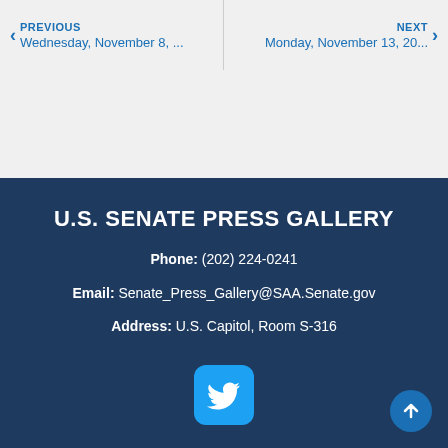PREVIOUS Wednesday, November 8, ...
NEXT Monday, November 13, 20...
U.S. SENATE PRESS GALLERY
Phone: (202) 224-0241
Email: Senate_Press_Gallery@SAA.Senate.gov
Address: U.S. Capitol, Room S-316
[Figure (logo): Twitter bird logo button in light blue rounded rectangle]
[Figure (other): Scroll to top button with upward arrow, circular blue button in bottom right corner]